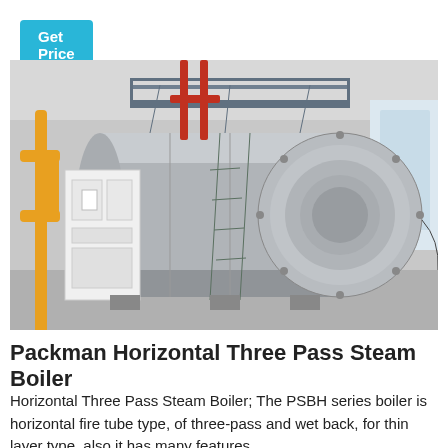Get Price
[Figure (photo): Large horizontal three-pass steam boiler in an industrial facility. The boiler is a large cylindrical vessel (grey metal) oriented horizontally, with orange/yellow pipes on the left side, a metal staircase and walkway platform on top, a white control panel cabinet on the left, and visible flanged end cap on the right side. Industrial building interior background.]
Packman Horizontal Three Pass Steam Boiler
Horizontal Three Pass Steam Boiler; The PSBH series boiler is horizontal fire tube type, of three-pass and wet back, for thin layer type, also it has many features...